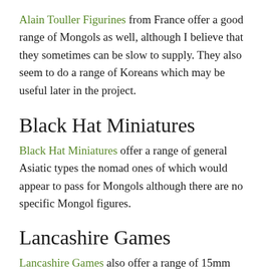Alain Touller Figurines from France offer a good range of Mongols as well, although I believe that they sometimes can be slow to supply. They also seem to do a range of Koreans which may be useful later in the project.
Black Hat Miniatures
Black Hat Miniatures offer a range of general Asiatic types the nomad ones of which would appear to pass for Mongols although there are no specific Mongol figures.
Lancashire Games
Lancashire Games also offer a range of 15mm Mongols, including Light Cavalry Firing Bow, Light Cavalry Charging with Bow, Heavy Cavalry, Extra Heavy Cavalry, Dismounted Light Cavalry and Light Cavalry with Spear. The dismounted